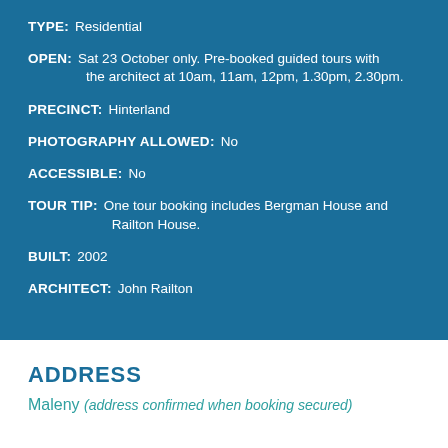TYPE: Residential
OPEN: Sat 23 October only. Pre-booked guided tours with the architect at 10am, 11am, 12pm, 1.30pm, 2.30pm.
PRECINCT: Hinterland
PHOTOGRAPHY ALLOWED: No
ACCESSIBLE: No
TOUR TIP: One tour booking includes Bergman House and Railton House.
BUILT: 2002
ARCHITECT: John Railton
ADDRESS
Maleny (address confirmed when booking secured)